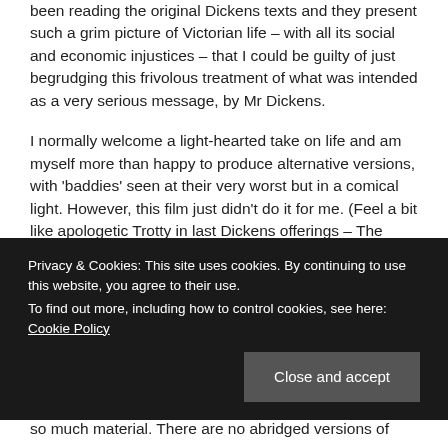been reading the original Dickens texts and they present such a grim picture of Victorian life – with all its social and economic injustices – that I could be guilty of just begrudging this frivolous treatment of what was intended as a very serious message, by Mr Dickens.
I normally welcome a light-hearted take on life and am myself more than happy to produce alternative versions, with 'baddies' seen at their very worst but in a comical light. However, this film just didn't do it for me. (Feel a bit like apologetic Trotty in last Dickens offerings – The Chimes!)
Privacy & Cookies: This site uses cookies. By continuing to use this website, you agree to their use.
To find out more, including how to control cookies, see here: Cookie Policy
so much material. There are no abridged versions of